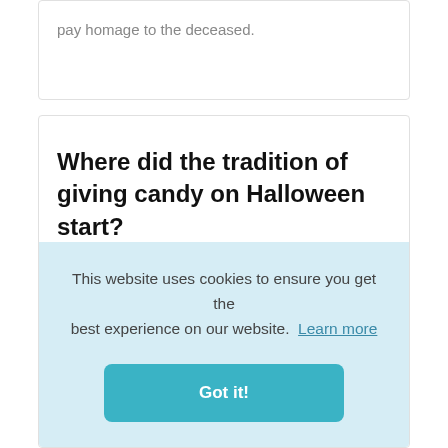pay homage to the deceased.
Where did the tradition of giving candy on Halloween start?
[Figure (logo): Twitter and Blogger social sharing icons]
The Scottish Halloween custom of "guising" – children disguised in costume going from
This website uses cookies to ensure you get the best experience on our website. Learn more
Got it!